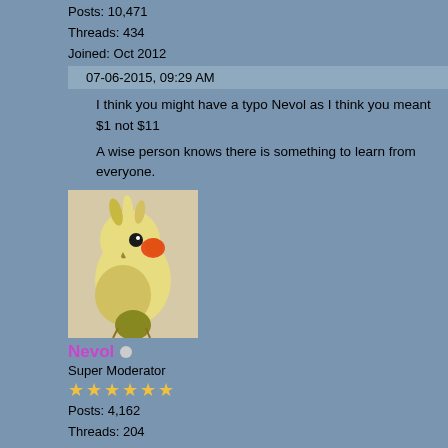Posts: 10,471
Threads: 434
Joined: Oct 2012
07-06-2015, 09:29 AM
I think you might have a typo Nevol as I think you meant $1 not $11
A wise person knows there is something to learn from everyone.
[Figure (photo): Avatar photo of a cockatiel bird with yellow and orange feathers]
Nevol
Super Moderator
★★★★★★
Posts: 4,162
Threads: 204
Joined: Sep 2012
07-06-2015, 10:18 AM (This post was last modified: 07-06-2015, 10:19
ausjack Wrote:
I think you might have a typo Nevol as I think you meant $1 not $11
Thanks AJ, that'll teach me to do a preview before I post.